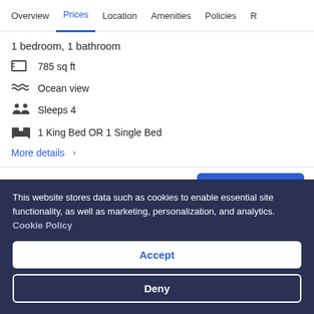Overview | Prices | Location | Amenities | Policies | R…
1 bedroom, 1 bathroom
785 sq ft
Ocean view
Sleeps 4
1 King Bed OR 1 Single Bed
More details >
Choose your dates
This website stores data such as cookies to enable essential site functionality, as well as marketing, personalization, and analytics. Cookie Policy
Accept
Deny